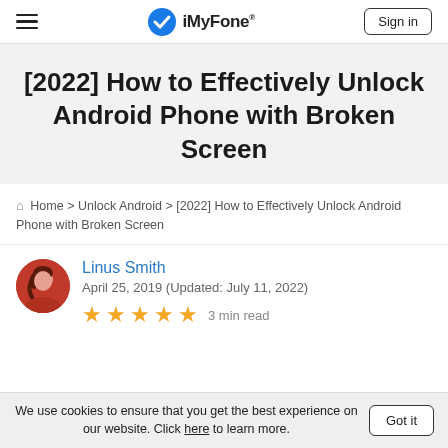iMyFone® | Sign in
[2022] How to Effectively Unlock Android Phone with Broken Screen
Home > Unlock Android > [2022] How to Effectively Unlock Android Phone with Broken Screen
Linus Smith
April 25, 2019 (Updated: July 11, 2022)
★★★★★ 3 min read
We use cookies to ensure that you get the best experience on our website. Click here to learn more. Got it